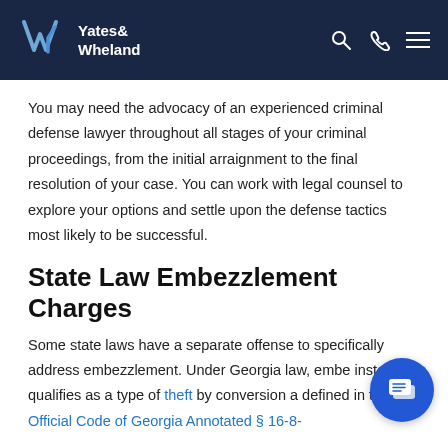Yates & Wheland
You may need the advocacy of an experienced criminal defense lawyer throughout all stages of your criminal proceedings, from the initial arraignment to the final resolution of your case. You can work with legal counsel to explore your options and settle upon the defense tactics most likely to be successful.
State Law Embezzlement Charges
Some state laws have a separate offense to specifically address embezzlement. Under Georgia law, embezzlement instead qualifies as a type of theft by conversion as defined in the Official Code of Georgia Annotated § 16-8-...